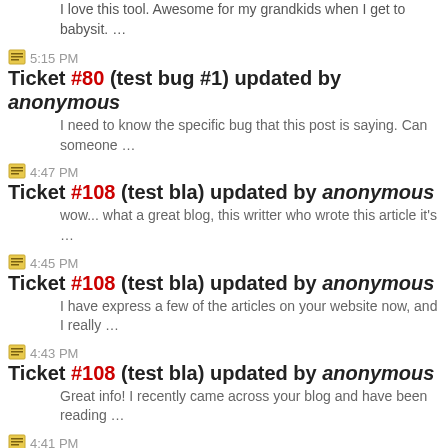I love this tool. Awesome for my grandkids when I get to babysit. …
5:15 PM Ticket #80 (test bug #1) updated by anonymous
I need to know the specific bug that this post is saying. Can someone …
4:47 PM Ticket #108 (test bla) updated by anonymous
wow... what a great blog, this writter who wrote this article it's …
4:45 PM Ticket #108 (test bla) updated by anonymous
I have express a few of the articles on your website now, and I really …
4:43 PM Ticket #108 (test bla) updated by anonymous
Great info! I recently came across your blog and have been reading …
4:41 PM Ticket #108 (test bla) updated by anonymous
Amazing knowledge and I like to share this kind of information with my …
4:39 PM Ticket #108 (test bla) updated by anonymous